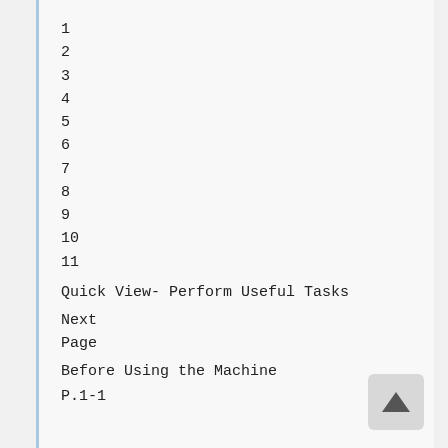1
2
3
4
5
6
7
8
9
10
11
Quick View- Perform Useful Tasks
Next
Page
Before Using the Machine
P.1-1